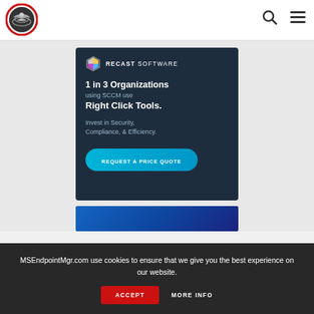[Figure (logo): MSEndpointMgr circular logo with eagle/globe motif in red and grey]
[Figure (illustration): Recast Software advertisement banner: dark navy background, hexagonal colorful logo, text '1 in 3 Organizations using SCCM use Right Click Tools. Invest in Security, Compliance, & Efficiency.' with a cyan 'REQUEST A PRICE QUOTE' button]
[Figure (illustration): Partial second advertisement banner with blue gradient, partially visible]
MSEndpointMgr.com use cookies to ensure that we give you the best experience on our website.
ACCEPT
MORE INFO